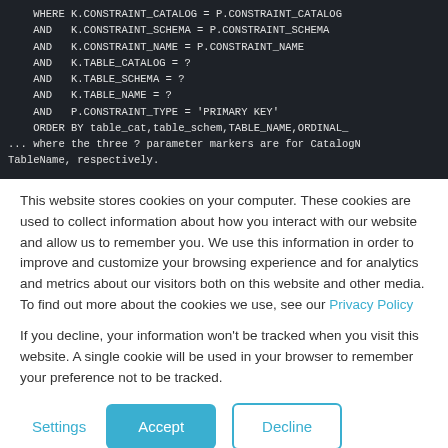[Figure (screenshot): Dark-themed code block showing SQL query snippet with WHERE/AND/ORDER BY clauses and a trailing comment about parameter markers]
This website stores cookies on your computer. These cookies are used to collect information about how you interact with our website and allow us to remember you. We use this information in order to improve and customize your browsing experience and for analytics and metrics about our visitors both on this website and other media. To find out more about the cookies we use, see our Privacy Policy
If you decline, your information won't be tracked when you visit this website. A single cookie will be used in your browser to remember your preference not to be tracked.
Settings  Accept  Decline